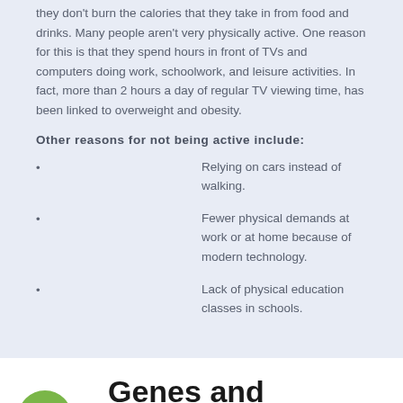they don't burn the calories that they take in from food and drinks. Many people aren't very physically active. One reason for this is that they spend hours in front of TVs and computers doing work, schoolwork, and leisure activities. In fact, more than 2 hours a day of regular TV viewing time, has been linked to overweight and obesity.
Other reasons for not being active include:
Relying on cars instead of walking.
Fewer physical demands at work or at home because of modern technology.
Lack of physical education classes in schools.
Genes and Family History